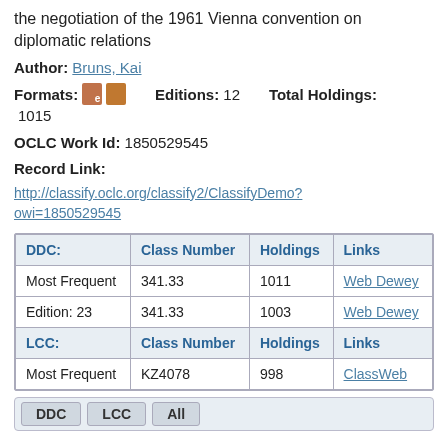the negotiation of the 1961 Vienna convention on diplomatic relations
Author: Bruns, Kai
Formats: [icons] Editions: 12 Total Holdings: 1015
OCLC Work Id: 1850529545
Record Link:
http://classify.oclc.org/classify2/ClassifyDemo?owi=1850529545
| DDC: | Class Number | Holdings | Links |
| --- | --- | --- | --- |
| Most Frequent | 341.33 | 1011 | Web Dewey |
| Edition: 23 | 341.33 | 1003 | Web Dewey |
| LCC: | Class Number | Holdings | Links |
| Most Frequent | KZ4078 | 998 | ClassWeb |
DDC   LCC   All